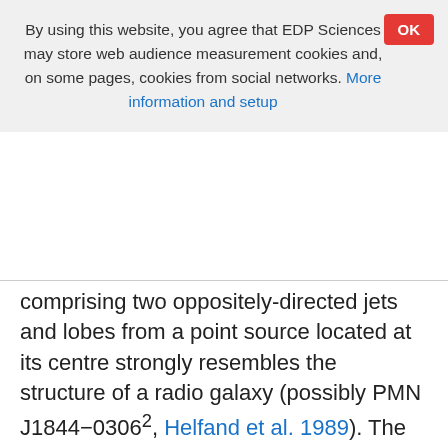By using this website, you agree that EDP Sciences may store web audience measurement cookies and, on some pages, cookies from social networks. More information and setup
comprising two oppositely-directed jets and lobes from a point source located at its centre strongly resembles the structure of a radio galaxy (possibly PMN J1844−0306², Helfand et al. 1989). The situation became further confusing after the detection with the H.E.S.S. telescope array of a complex of TeV sources toward G29.37+0.1 (Hoppe 2008). Among